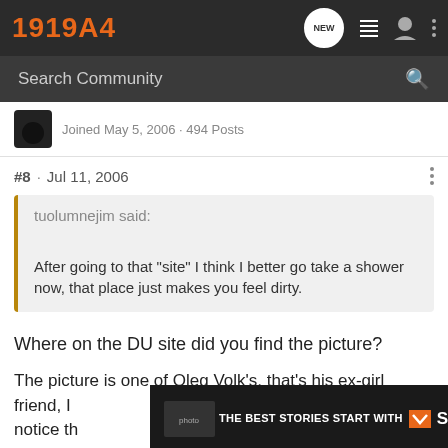1919A4
Search Community
Joined May 5, 2006 · 494 Posts
#8 · Jul 11, 2006
tuolumnejim said:
After going to that "site" I think I better go take a shower now, that place just makes you feel dirty.
Where on the DU site did you find the picture?
The picture is one of Oleg Volk's, that's his ex-girl friend, I notice th eg does th aphy